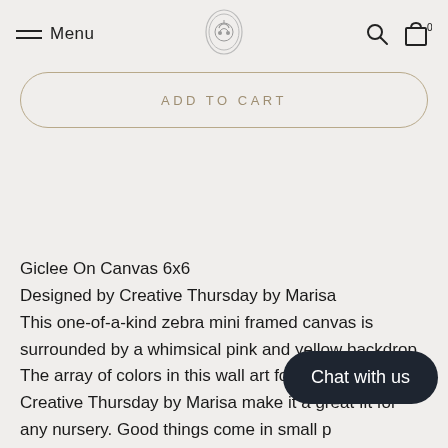Menu
ADD TO CART
Giclee On Canvas 6x6
Designed by Creative Thursday by Marisa
This one-of-a-kind zebra mini framed canvas is surrounded by a whimsical pink and yellow backdrop. The array of colors in this wall art for children from Creative Thursday by Marisa make it a great fit for any nursery. Good things come in small p...his case it's our new mini framed canvas...y bringing a series of small things together. These mini
Chat with us